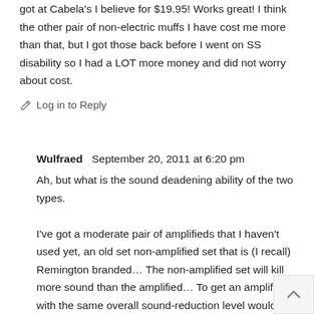got at Cabela's I believe for $19.95! Works great! I think the other pair of non-electric muffs I have cost me more than that, but I got those back before I went on SS disability so I had a LOT more money and did not worry about cost.
Log in to Reply
Wulfraed  September 20, 2011 at 6:20 pm
Ah, but what is the sound deadening ability of the two types.
I've got a moderate pair of amplifieds that I haven't used yet, an old set non-amplified set that is (I recall) Remington branded… The non-amplified set will kill more sound than the amplified… To get an amplified with the same overall sound-reduction level would put me into the $$$ range (once you've added the microphone port and volume control